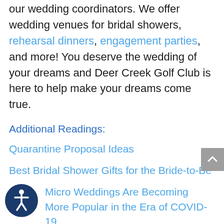our wedding coordinators. We offer wedding venues for bridal showers, rehearsal dinners, engagement parties, and more! You deserve the wedding of your dreams and Deer Creek Golf Club is here to help make your dreams come true.
Additional Readings:
Quarantine Proposal Ideas
Best Bridal Shower Gifts for the Bride-to-Be
Micro Weddings Are Becoming More Popular in the Era of COVID-19